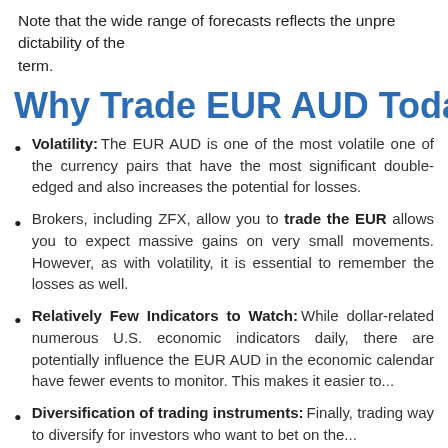Note that the wide range of forecasts reflects the unpredictability of the term.
Why Trade EUR AUD Today?
Volatility: The EUR AUD is one of the most volatile one of the currency pairs that have the most significant double-edged and also increases the potential for losses.
Brokers, including ZFX, allow you to trade the EUR AUD which allows you to expect massive gains on very small movements. However, as with volatility, it is essential to remember the losses as well.
Relatively Few Indicators to Watch: While dollar-related numerous U.S. economic indicators daily, there are potentially influence the EUR AUD in the economic calendar have fewer events to monitor. This makes it easier to...
Diversification of trading instruments: Finally, trading EUR AUD is a way to diversify for investors who want to bet on the...